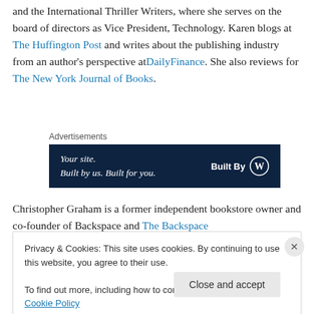and the International Thriller Writers, where she serves on the board of directors as Vice President, Technology. Karen blogs at The Huffington Post and writes about the publishing industry from an author's perspective atDailyFinance. She also reviews for The New York Journal of Books.
Advertisements
[Figure (other): Advertisement banner: 'Your site. Built by us. Built for you. Built By WordPress logo']
Christopher Graham is a former independent bookstore owner and co-founder of Backspace and The Backspace
Privacy & Cookies: This site uses cookies. By continuing to use this website, you agree to their use.
To find out more, including how to control cookies, see here: Cookie Policy
Close and accept